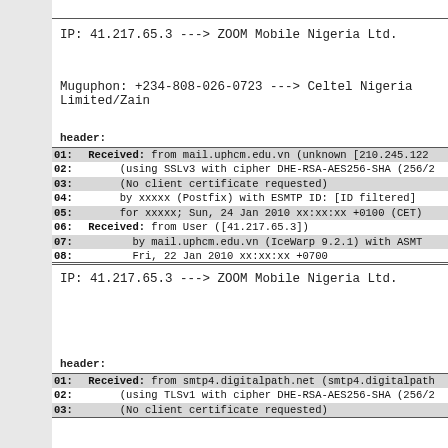IP: 41.217.65.3 ---> ZOOM Mobile Nigeria Ltd.
Muguphon: +234-808-026-0723 ---> Celtel Nigeria Limited/Zain
header:
| 01: | Received: from mail.uphcm.edu.vn (unknown [210.245.122... |
| 02: |     (using SSLv3 with cipher DHE-RSA-AES256-SHA (256/2... |
| 03: |     (No client certificate requested) |
| 04: |     by xxxxx (Postfix) with ESMTP ID: [ID filtered] |
| 05: |     for xxxxx; Sun, 24 Jan 2010 xx:xx:xx +0100 (CET) |
| 06: | Received: from User ([41.217.65.3]) |
| 07: |         by mail.uphcm.edu.vn (IceWarp 9.2.1) with ASMT... |
| 08: |         Fri, 22 Jan 2010 xx:xx:xx +0700 |
IP: 41.217.65.3 ---> ZOOM Mobile Nigeria Ltd.
header:
| 01: | Received: from smtp4.digitalpath.net (smtp4.digitalpath... |
| 02: |     (using TLSv1 with cipher DHE-RSA-AES256-SHA (256/2... |
| 03: |     (No client certificate requested) |